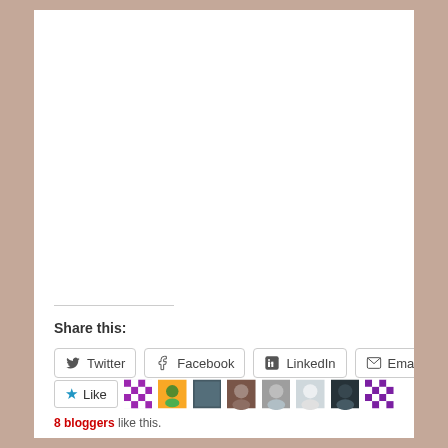Share this:
Twitter
Facebook
LinkedIn
Email
8 bloggers like this.